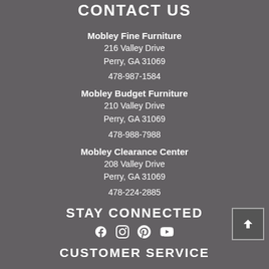CONTACT US
Mobley Fine Furniture
216 Valley Drive
Perry, GA 31069
478-987-1584
Mobley Budget Furniture
210 Valley Drive
Perry, GA 31069
478-988-7988
Mobley Clearance Center
208 Valley Drive
Perry, GA 31069
478-224-2885
STAY CONNECTED
[Figure (infographic): Social media icons: Facebook, Instagram, Pinterest, YouTube]
CUSTOMER SERVICE